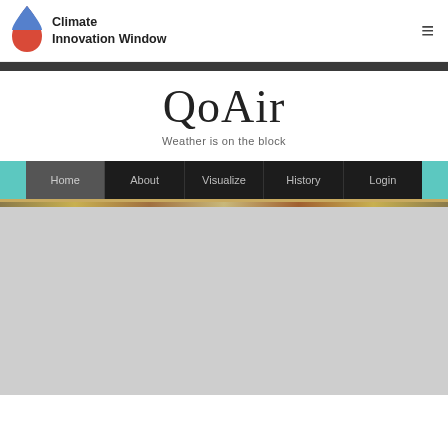[Figure (logo): Climate Innovation Window logo with a teardrop/flame shape split blue on top and red on bottom]
Climate Innovation Window
[Figure (illustration): Hamburger menu icon (three horizontal lines)]
QoAir
Weather is on the block
[Figure (screenshot): Navigation bar with Home, About, Visualize, History, Login menu items on dark background with teal accent ends]
[Figure (map): A light gray map area, partially visible with a golden/tan stripe at the top edge]